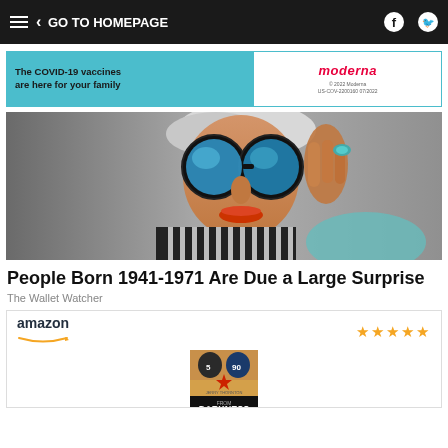GO TO HOMEPAGE
[Figure (infographic): Moderna COVID-19 vaccine advertisement banner. Teal/cyan left side with bold text: 'The COVID-19 vaccines are here for your family'. White right side with Moderna logo in red italic and small copyright text.]
[Figure (photo): Elderly woman with large round blue mirrored sunglasses, orange-red lipstick, white/grey hair, wearing a striped black and white outfit, holding her sunglasses with one hand with turquoise ring. Background is grey gradient.]
People Born 1941-1971 Are Due a Large Surprise
The Wallet Watcher
[Figure (infographic): Amazon product card with Amazon logo at top left, five gold stars at top right, and a book cover for 'From Darkness to Dynasty' by Jerry Thornton showing football players and a red star, with dark bottom portion showing the title text.]